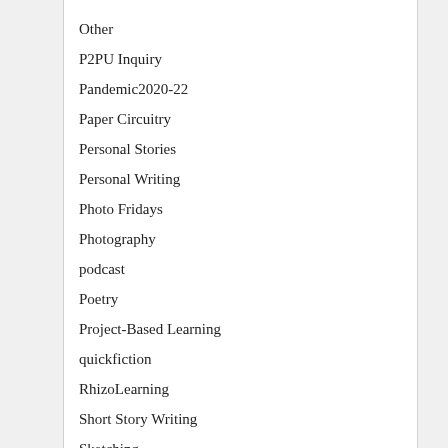Other
P2PU Inquiry
Pandemic2020-22
Paper Circuitry
Personal Stories
Personal Writing
Photo Fridays
Photography
podcast
Poetry
Project-Based Learning
quickfiction
RhizoLearning
Short Story Writing
Sketching